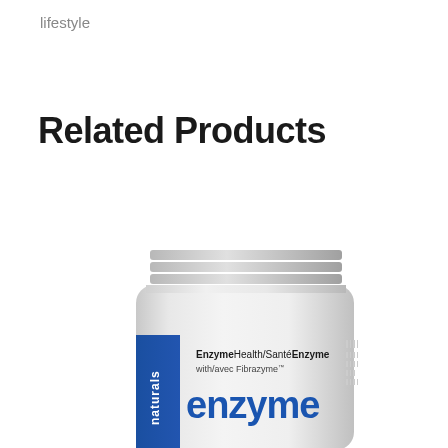lifestyle
Related Products
[Figure (photo): A white plastic supplement bottle with a twist-off cap showing the label: EnzymeHealth/SanteEnzyme with/avec Fibrazyme, enzyme, with a blue stripe on the left side reading 'naturals']